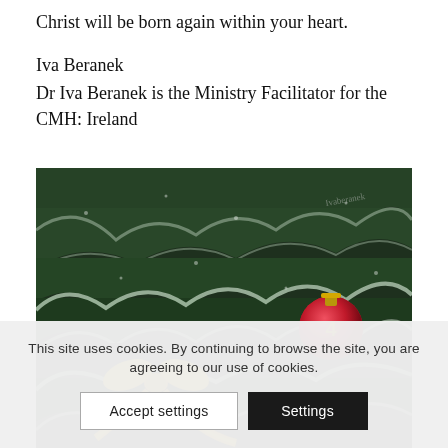Christ will be born again within your heart.
Iva Beranek
Dr Iva Beranek is the Ministry Facilitator for the CMH: Ireland
[Figure (photo): Close-up photo of a snow-dusted Christmas tree with a red ornament numbered '4', gold ribbon/bow decoration, and pine branches with frost.]
This site uses cookies. By continuing to browse the site, you are agreeing to our use of cookies.
Accept settings   Settings